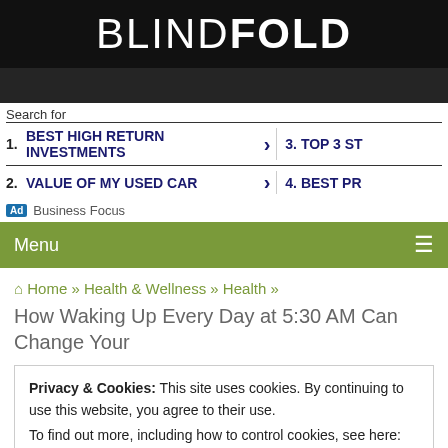BLINDFOLD
Search for
1. BEST HIGH RETURN INVESTMENTS
2. VALUE OF MY USED CAR
3. TOP 3 ST
4. BEST PR
Ad | Business Focus
Menu
Home » Health & Wellness » Health »
How Waking Up Every Day at 5:30 AM Can Change Your
Privacy & Cookies: This site uses cookies. By continuing to use this website, you agree to their use.
To find out more, including how to control cookies, see here: Cookie Policy
Close and accept
September 5, 2015 · Health, Motivation, Self Improvement